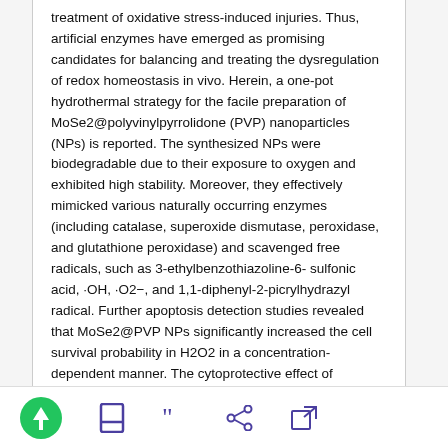enzymes have emerged as promising candidates for balancing and treating the dysregulation of redox homeostasis in vivo. Herein, a one-pot hydrothermal strategy for the facile preparation of MoSe2@polyvinylpyrrolidone (PVP) nanoparticles (NPs) is reported. The synthesized NPs were biodegradable due to their exposure to oxygen and exhibited high stability. Moreover, they effectively mimicked various naturally occurring enzymes (including catalase, superoxide dismutase, peroxidase, and glutathione peroxidase) and scavenged free radicals, such as 3-ethylbenzothiazoline-6-sulfonic acid, ·OH, ·O2−, and 1,1-diphenyl-2-picrylhydrazyl radical. Further apoptosis detection studies revealed that MoSe2@PVP NPs significantly increased the cell survival probability in H2O2 in a concentration-dependent manner. The cytoprotective effect of MoSe2@PVP NPs was explored for an animal model of acute pancreatitis, which confirmed its remarkable therapeutic efficacy. Owing to the biodegradable and biocompatible nature of MoSe2@PVP NPs, the findings of this work can stimulate the development of other artificial nanoenzymes for antioxidant therapies.